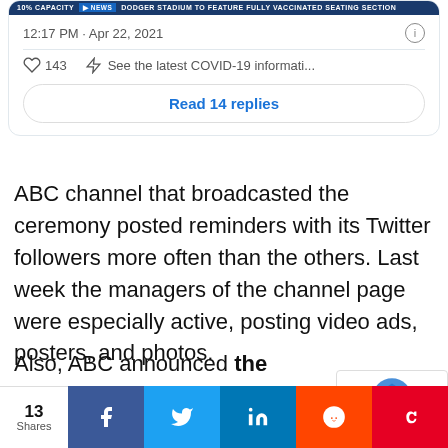[Figure (screenshot): Tweet card showing timestamp 12:17 PM Apr 22, 2021 with 143 likes, COVID-19 info link, and Read 14 replies button]
ABC channel that broadcasted the ceremony posted reminders with its Twitter followers more often than the others. Last week the managers of the channel page were especially active, posting video ads, posters, and photos.
Also, ABC announced the TikTok challenge for all fans of the Oscars a day before the telecast.